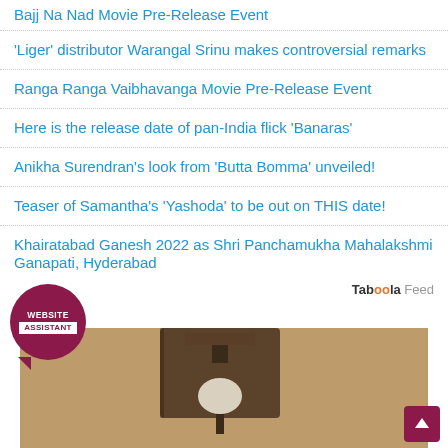Bajj Na Nad Movie Pre-Release Event
'Liger' distributor Warangal Srinu makes controversial remarks
Ranga Ranga Vaibhavanga Movie Pre-Release Event
Here is the release date of pan-India flick 'Banaras'
Anikha Surendran's look from 'Butta Bomma' unveiled!
Teaser of Samantha's 'Yashoda' to be out on THIS date!
Khairatabad Ganesh 2022 as Shri Panchamukha Mahalakshmi Ganapati, Hyderabad
Deepika Chourasia Exclusive Studio Shoot
View More Updates
[Figure (photo): Advertisement section with Website Assistant logo (dark red circle with speech bubble tail), Taboola Feed label, and a photo of an outdoor wall lamp on a textured wall. Scroll-to-top button (dark red square with up arrow) in bottom right corner.]